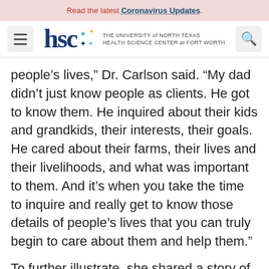Read the latest Coronavirus Updates.
[Figure (logo): HSC - The University of North Texas Health Science Center at Fort Worth logo with hamburger menu icon on the left and search icon on the right]
people's lives," Dr. Carlson said. "My dad didn't just know people as clients. He got to know them. He inquired about their kids and grandkids, their interests, their goals. He cared about their farms, their lives and their livelihoods, and what was important to them. And it's when you take the time to inquire and really get to know those details of people's lives that you can truly begin to care about them and help them."
To further illustrate, she shared a story of a